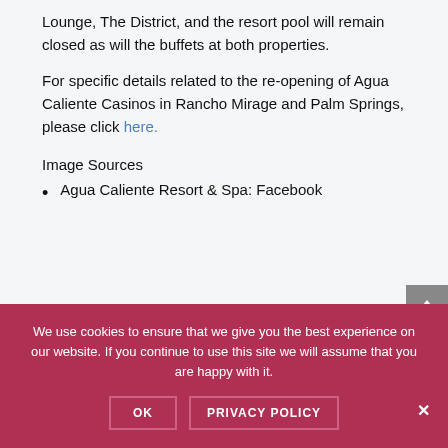Lounge, The District, and the resort pool will remain closed as will the buffets at both properties.
For specific details related to the re-opening of Agua Caliente Casinos in Rancho Mirage and Palm Springs, please click here.
Image Sources
Agua Caliente Resort & Spa: Facebook
We use cookies to ensure that we give you the best experience on our website. If you continue to use this site we will assume that you are happy with it.
OK   PRIVACY POLICY